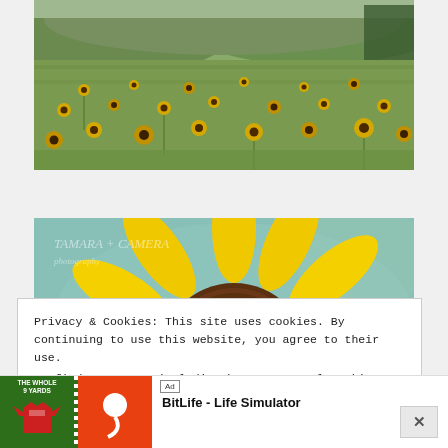[Figure (photo): Wide photograph of a sunflower field with green hills in the background]
[Figure (photo): Close-up photograph of a bright yellow sunflower with teal/turquoise background, watermark 'TAMARA + CAMERA photography' visible in top-left]
Privacy & Cookies: This site uses cookies. By continuing to use this website, you agree to their use.
To find out more, including how to control cookies, see here: Cookie Policy
[Figure (other): Advertisement bar: Ad label, 'The Whole 9 Yards' green sports banner with shirt graphic, BitLife app icon on orange background, 'BitLife - Life Simulator' text, Install button]